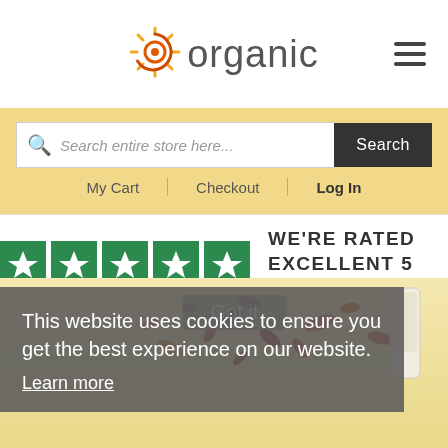[Figure (logo): io organic logo with sun/spiral icon]
[Figure (screenshot): Hamburger menu icon (three horizontal lines)]
Search entire store here...
Search
My Cart | Checkout | Log In
[Figure (infographic): Trustpilot 5 green stars rating banner saying WE'RE RATED EXCELLENT 5 STARS]
YOU ARE HERE: Home → Dr Hauschka Rose Day Cream Light 30ml
This website uses cookies to ensure you get the best experience on our website. Learn more
[Figure (photo): Product photo of Dr Hauschka Rose Day Cream Light 30ml with rose petals on yellow background, partially obscured by cookie notice]